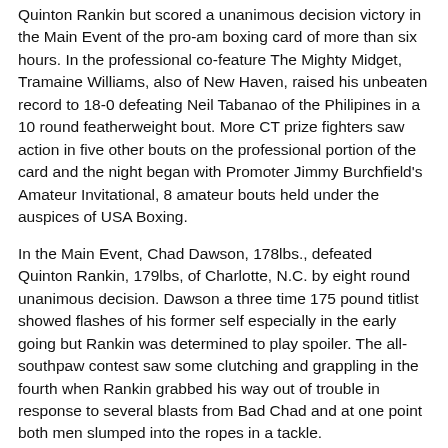Quinton Rankin but scored a unanimous decision victory in the Main Event of the pro-am boxing card of more than six hours. In the professional co-feature The Mighty Midget, Tramaine Williams, also of New Haven, raised his unbeaten record to 18-0 defeating Neil Tabanao of the Philipines in a 10 round featherweight bout. More CT prize fighters saw action in five other bouts on the professional portion of the card and the night began with Promoter Jimmy Burchfield's Amateur Invitational, 8 amateur bouts held under the auspices of USA Boxing.
In the Main Event, Chad Dawson, 178lbs., defeated Quinton Rankin, 179lbs, of Charlotte, N.C. by eight round unanimous decision. Dawson a three time 175 pound titlist showed flashes of his former self especially in the early going but Rankin was determined to play spoiler. The all-southpaw contest saw some clutching and grappling in the fourth when Rankin grabbed his way out of trouble in response to several blasts from Bad Chad and at one point both men slumped into the ropes in a tackle.
In the fifth round Dawson was landing more often and heavier when Quinton Rankin caught him with an uppercut that sent him